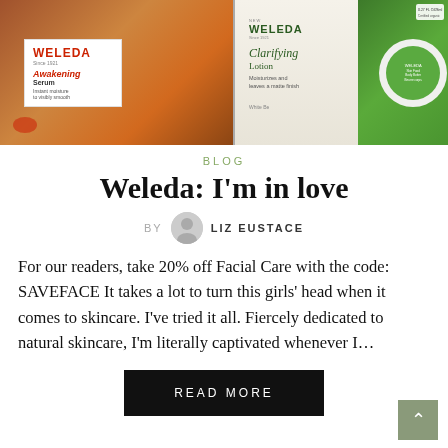[Figure (photo): Photo of three Weleda skincare products: Awakening Serum (red/white box on left), Clarifying Lotion (green/white box in middle), and Skin Food Body Butter (green circular container on right)]
BLOG
Weleda: I'm in love
BY LIZ EUSTACE
For our readers, take 20% off Facial Care with the code: SAVEFACE It takes a lot to turn this girls' head when it comes to skincare. I've tried it all. Fiercely dedicated to natural skincare, I'm literally captivated whenever I…
READ MORE